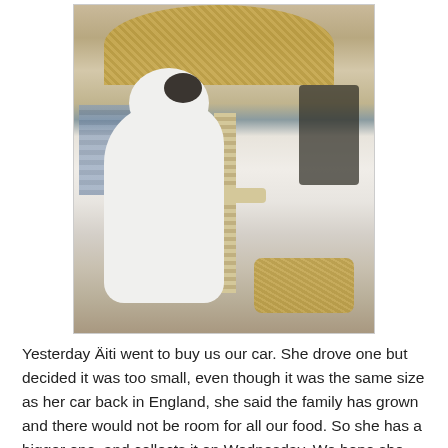[Figure (photo): A white cat with a black patch on its head sits upright on a wicker cat tree/scratching post, looking up and reaching toward a dangling toy. The cat tree has a large wicker basket on top and a wicker platform at the base. Background shows window blinds and a dark monitor.]
Yesterday Äiti went to buy us our car. She drove one but decided it was too small, even though it was the same size as her car back in England, she said the family has grown and there would not be room for all our food. So she has a bigger one, and collects it on Wednesday. We hope she will